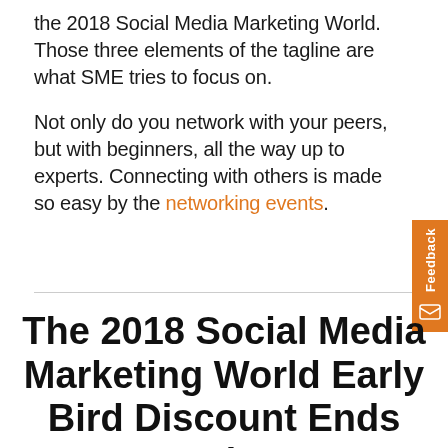the 2018 Social Media Marketing World. Those three elements of the tagline are what SME tries to focus on.

Not only do you network with your peers, but with beginners, all the way up to experts. Connecting with others is made so easy by the networking events.
The 2018 Social Media Marketing World Early Bird Discount Ends Today